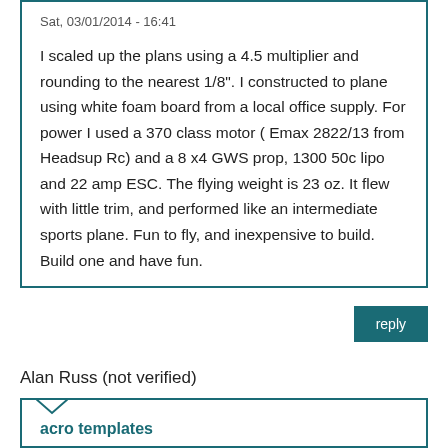Sat, 03/01/2014 - 16:41
I scaled up the plans using a 4.5 multiplier and rounding to the nearest 1/8". I constructed to plane using white foam board from a local office supply. For power I used a 370 class motor ( Emax 2822/13 from Headsup Rc) and a 8 x4 GWS prop, 1300 50c lipo and 22 amp ESC. The flying weight is 23 oz. It flew with little trim, and performed like an intermediate sports plane. Fun to fly, and inexpensive to build. Build one and have fun.
reply
Alan Russ (not verified)
acro templates